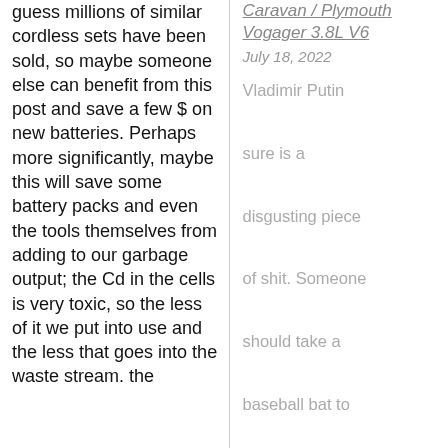guess millions of similar cordless sets have been sold, so maybe someone else can benefit from this post and save a few $ on new batteries. Perhaps more significantly, maybe this will save some battery packs and even the tools themselves from adding to our garbage output; the Cd in the cells is very toxic, so the less of it we put into use and the less that goes into the waste stream. the
Caravan / Plymouth Vogager 3.8L V6
July 18, 2022
Vladimir Putin sure is a disgusting piece of shit. Someone should take a baseball bat to his round ugly volleyball...
Dani on 2007 Subaru Forester